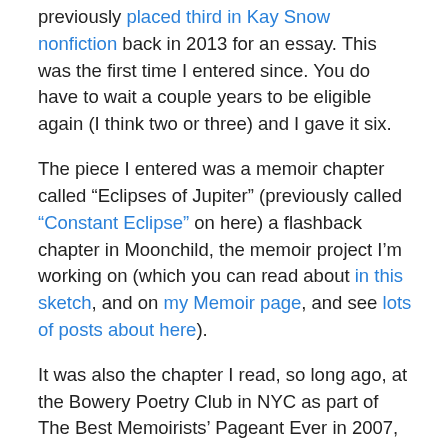previously placed third in Kay Snow nonfiction back in 2013 for an essay. This was the first time I entered since. You do have to wait a couple years to be eligible again (I think two or three) and I gave it six.
The piece I entered was a memoir chapter called “Eclipses of Jupiter” (previously called “Constant Eclipse” on here) a flashback chapter in Moonchild, the memoir project I’m working on (which you can read about in this sketch, and on my Memoir page, and see lots of posts about here).
It was also the chapter I read, so long ago, at the Bowery Poetry Club in NYC as part of The Best Memoirists’ Pageant Ever in 2007, which I apparently never posted about back in the day, though I was sure I had (couldn’t find anything in my drafts either). The picture on my bio page comes from that event.